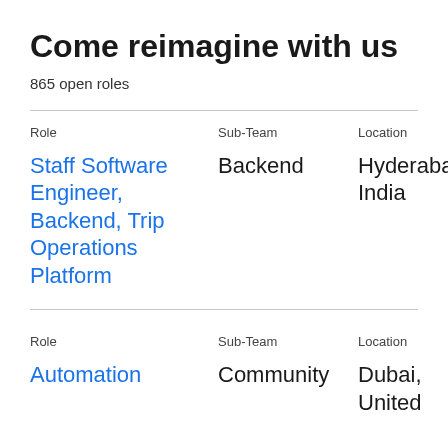Come reimagine with us
865 open roles
| Role | Sub-Team | Location |
| --- | --- | --- |
| Staff Software Engineer, Backend, Trip Operations Platform | Backend | Hyderabad, India |
| Role | Sub-Team | Location |
| --- | --- | --- |
| Automation | Community | Dubai, United |